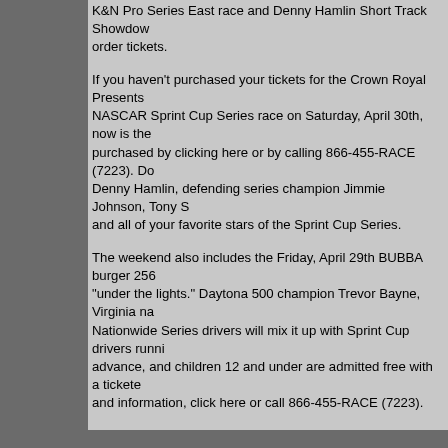K&N Pro Series East race and Denny Hamlin Short Track Showdown… order tickets.
If you haven't purchased your tickets for the Crown Royal Presents… NASCAR Sprint Cup Series race on Saturday, April 30th, now is the… purchased by clicking here or by calling 866-455-RACE (7223). Do… Denny Hamlin, defending series champion Jimmie Johnson, Tony S… and all of your favorite stars of the Sprint Cup Series.
The weekend also includes the Friday, April 29th BUBBA burger 25… "under the lights." Daytona 500 champion Trevor Bayne, Virginia na… Nationwide Series drivers will mix it up with Sprint Cup drivers runni… advance, and children 12 and under are admitted free with a tickete… and information, click here or call 866-455-RACE (7223).
About the Denny Hamlin Foundation:
The Denny Hamlin Foundation was created by NASCAR Sprint Cu… raising awareness and funding for Cystic Fibrosis research and trea… profit corporations that focus on aiding children with debilitating illn… Foundation online at www.dennyhamlinfoundation.org and on Facel… http://www.facebook.com/dennyhamlinfoundation.